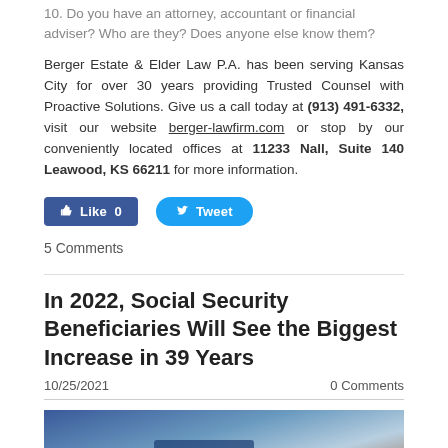10. Do you have an attorney, accountant or financial adviser? Who are they? Does anyone else know them?
Berger Estate & Elder Law P.A. has been serving Kansas City for over 30 years providing Trusted Counsel with Proactive Solutions. Give us a call today at (913) 491-6332, visit our website berger-lawfirm.com or stop by our conveniently located offices at 11233 Nall, Suite 140 Leawood, KS 66211 for more information.
[Figure (other): Social media buttons: Like 0 (Facebook blue) and Tweet (Twitter blue)]
5 Comments
In 2022, Social Security Beneficiaries Will See the Biggest Increase in 39 Years
10/25/2021    0 Comments
[Figure (photo): Photo of hands holding a Social Security card with blue background]